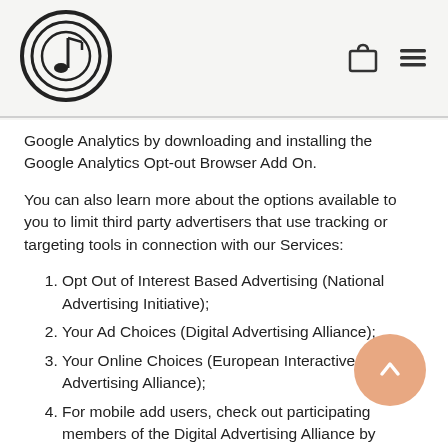[Figure (logo): Circular logo with musical note / sound wave design]
[Figure (other): Shopping bag and hamburger menu icons in header]
Google Analytics by downloading and installing the Google Analytics Opt-out Browser Add On.
You can also learn more about the options available to you to limit third party advertisers that use tracking or targeting tools in connection with our Services:
1. Opt Out of Interest Based Advertising (National Advertising Initiative);
2. Your Ad Choices (Digital Advertising Alliance);
3. Your Online Choices (European Interactive Digital Advertising Alliance);
4. For mobile add users, check out participating members of the Digital Advertising Alliance by installing the mobile app and selecting the user's choices.